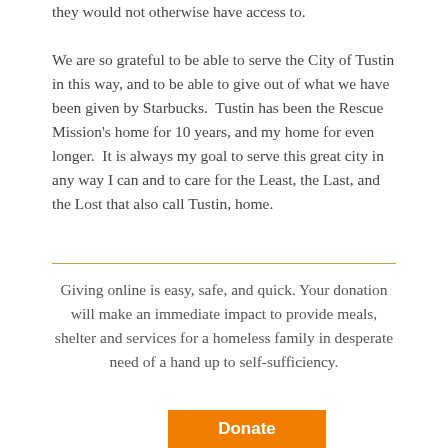they would not otherwise have access to.

We are so grateful to be able to serve the City of Tustin in this way, and to be able to give out of what we have been given by Starbucks. Tustin has been the Rescue Mission's home for 10 years, and my home for even longer. It is always my goal to serve this great city in any way I can and to care for the Least, the Last, and the Lost that also call Tustin, home.
Giving online is easy, safe, and quick. Your donation will make an immediate impact to provide meals, shelter and services for a homeless family in desperate need of a hand up to self-sufficiency.
[Figure (other): Orange Donate button]